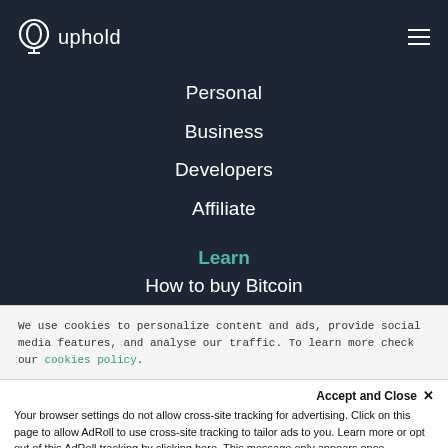[Figure (logo): Uphold logo with circular icon and text 'uphold' in white on dark background]
Personal
Business
Developers
Affiliate
Learn
How to buy Bitcoin
We use cookies to personalize content and ads, provide social media features, and analyse our traffic. To learn more check our cookies policy.
Accept and Close ✕
Your browser settings do not allow cross-site tracking for advertising. Click on this page to allow AdRoll to use cross-site tracking to tailor ads to you. Learn more or opt out of this AdRoll tracking by clicking here. This message only appears once.